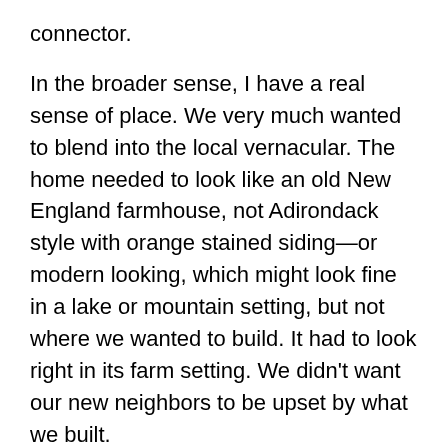connector.
In the broader sense, I have a real sense of place. We very much wanted to blend into the local vernacular. The home needed to look like an old New England farmhouse, not Adirondack style with orange stained siding—or modern looking, which might look fine in a lake or mountain setting, but not where we wanted to build. It had to look right in its farm setting. We didn't want our new neighbors to be upset by what we built.
Given Vermont winters, what were your energy considerations?
Our new house, situated on 23 acres with a nice view, is in the middle of a field, with no trees so there are no shadows. We sited the garage due south, so putting PVs (photovoltaics, aka solar panels) on just one side of its